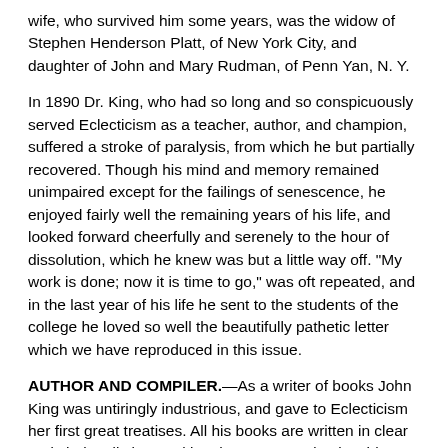wife, who survived him some years, was the widow of Stephen Henderson Platt, of New York City, and daughter of John and Mary Rudman, of Penn Yan, N. Y.
In 1890 Dr. King, who had so long and so conspicuously served Eclecticism as a teacher, author, and champion, suffered a stroke of paralysis, from which he but partially recovered. Though his mind and memory remained unimpaired except for the failings of senescence, he enjoyed fairly well the remaining years of his life, and looked forward cheerfully and serenely to the hour of dissolution, which he knew was but a little way off. "My work is done; now it is time to go," was oft repeated, and in the last year of his life he sent to the students of the college he loved so well the beautifully pathetic letter which we have reproduced in this issue.
AUTHOR AND COMPILER.—As a writer of books John King was untiringly industrious, and gave to Eclecticism her first great treatises. All his books are written in clear and choice diction, making them easy and enjoyable reading. The bulk of his contributions to the medical journals were translations of medical papers and notes from the French, a few addresses, an occasional article on some drug, and a collection of papers which were ultimately published as a part of his great work on chronic